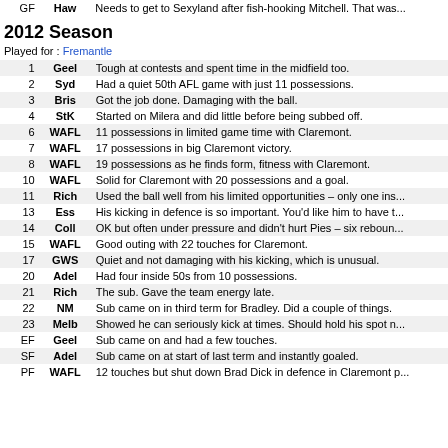| Round | Team | Note |
| --- | --- | --- |
| GF | Haw | Needs to get to Sexyland after fish-hooking Mitchell. That was... |
2012 Season
Played for : Fremantle
| Round | Team | Note |
| --- | --- | --- |
| 1 | Geel | Tough at contests and spent time in the midfield too. |
| 2 | Syd | Had a quiet 50th AFL game with just 11 possessions. |
| 3 | Bris | Got the job done. Damaging with the ball. |
| 4 | StK | Started on Milera and did little before being subbed off. |
| 6 | WAFL | 11 possessions in limited game time with Claremont. |
| 7 | WAFL | 17 possessions in big Claremont victory. |
| 8 | WAFL | 19 possessions as he finds form, fitness with Claremont. |
| 10 | WAFL | Solid for Claremont with 20 possessions and a goal. |
| 11 | Rich | Used the ball well from his limited opportunities – only one ins... |
| 13 | Ess | His kicking in defence is so important. You'd like him to have t... |
| 14 | Coll | OK but often under pressure and didn't hurt Pies – six reboun... |
| 15 | WAFL | Good outing with 22 touches for Claremont. |
| 17 | GWS | Quiet and not damaging with his kicking, which is unusual. |
| 20 | Adel | Had four inside 50s from 10 possessions. |
| 21 | Rich | The sub. Gave the team energy late. |
| 22 | NM | Sub came on in third term for Bradley. Did a couple of things. |
| 23 | Melb | Showed he can seriously kick at times. Should hold his spot n... |
| EF | Geel | Sub came on and had a few touches. |
| SF | Adel | Sub came on at start of last term and instantly goaled. |
| PF | WAFL | 12 touches but shut down Brad Dick in defence in Claremont p... |